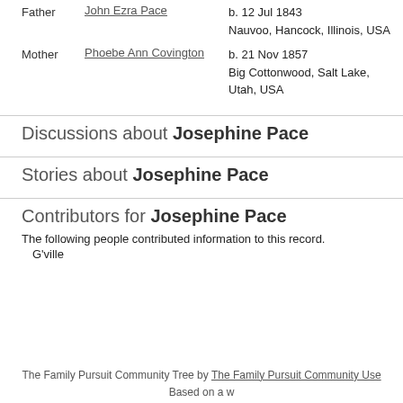Father   John Ezra Pace   b. 12 Jul 1843 Nauvoo, Hancock, Illinois, USA
Mother   Phoebe Ann Covington   b. 21 Nov 1857 Big Cottonwood, Salt Lake, Utah, USA
Discussions about Josephine Pace
Stories about Josephine Pace
Contributors for Josephine Pace
The following people contributed information to this record.
G'ville
The Family Pursuit Community Tree by The Family Pursuit Community Use... Based on a w...